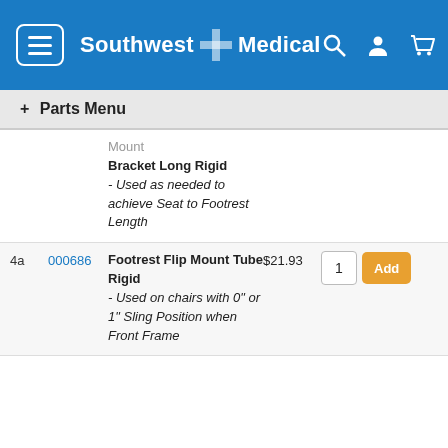Southwest Medical
+ Parts Menu
| # | SKU | Description | Price | Qty |  |
| --- | --- | --- | --- | --- | --- |
|  |  | Mount Bracket Long Rigid - Used as needed to achieve Seat to Footrest Length |  |  |  |
| 4a | 000686 | Footrest Flip Mount Tube Rigid - Used on chairs with 0" or 1" Sling Position when Front Frame | $21.93 | 1 | Add |